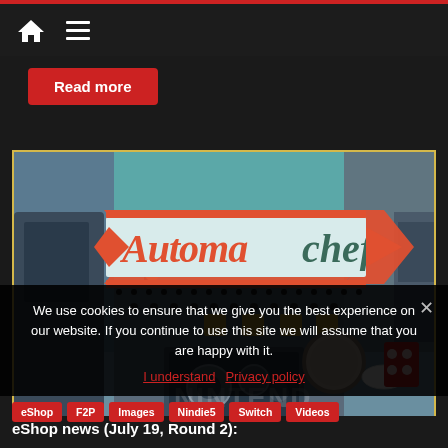Navigation bar with home icon and menu icon
Read more
[Figure (screenshot): Screenshot of the game Automachef showing a stylized diner sign with 'Automachef' text in retro font over a colorful 3D game scene with machinery and carnival-style decorations]
We use cookies to ensure that we give you the best experience on our website. If you continue to use this site we will assume that you are happy with it.
I understand  Privacy policy
eShop
F2P
Images
Nindie5
Switch
Videos
eShop news (July 19, Round 2):